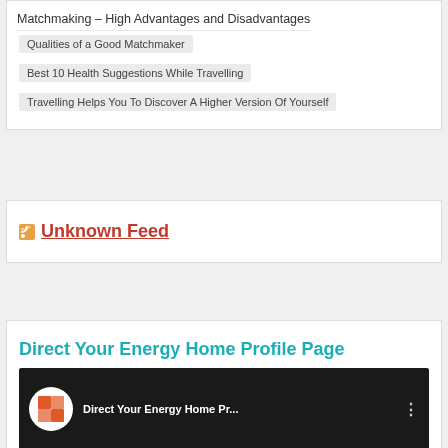Matchmaking – High Advantages and Disadvantages
Qualities of a Good Matchmaker
Best 10 Health Suggestions While Travelling
Travelling Helps You To Discover A Higher Version Of Yourself
Unknown Feed
Direct Your Energy Home Profile Page
[Figure (screenshot): YouTube video thumbnail showing Direct Your Energy Home Profile Page video with Direct Energy logo]